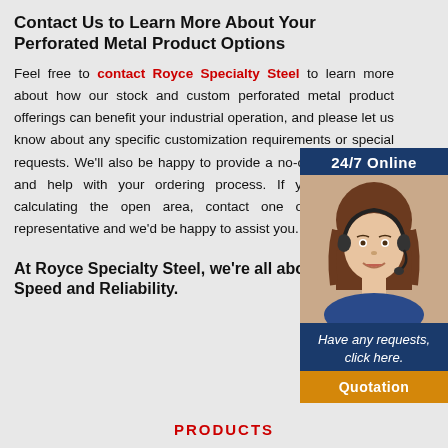Contact Us to Learn More About Your Perforated Metal Product Options
Feel free to contact Royce Specialty Steel to learn more about how our stock and custom perforated metal product offerings can benefit your industrial operation, and please let us know about any specific customization requirements or special requests. We'll also be happy to provide a no-obligation quote and help with your ordering process. If you need help calculating the open area, contact one of our friendly representative and we'd be happy to assist you.
[Figure (illustration): Customer service representative with headset — 24/7 Online widget with photo, 'Have any requests, click here.' and Quotation button]
At Royce Specialty Steel, we're all about Quality, Speed and Reliability.
PRODUCTS